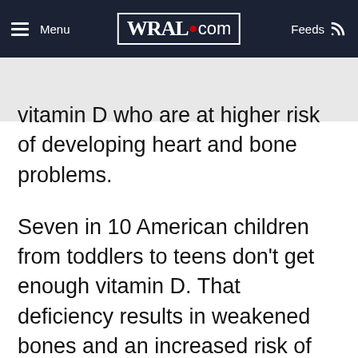Menu | WRAL.com | Feeds
vitamin D who are at higher risk of developing heart and bone problems.
Seven in 10 American children from toddlers to teens don't get enough vitamin D. That deficiency results in weakened bones and an increased risk of cardiovascular disease and diabetes, according to two new studies in the journal Pediatrics.